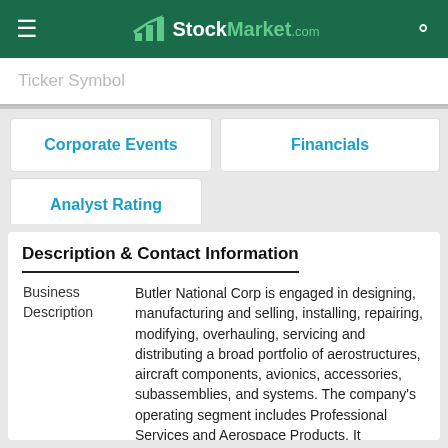≡  StockMarket.com  🔍
Ticker Symbol
Corporate Events
Financials
Analyst Rating
Description & Contact Information
|  |  |
| --- | --- |
| Business Description | Butler National Corp is engaged in designing, manufacturing and selling, installing, repairing, modifying, overhauling, servicing and distributing a broad portfolio of aerostructures, aircraft components, avionics, accessories, subassemblies, and systems. The company's operating segment includes Professional Services and Aerospace Products. It generates maximum revenue from the |